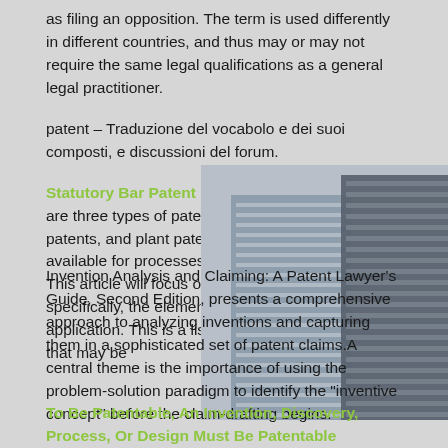as filing an opposition. The term is used differently in different countries, and thus may or may not require the same legal qualifications as a general legal practitioner.
patent – Traduzione del vocabolo e dei suoi composti, e discussioni del forum.
Statutory Bar Patent Elements Of A Patent There are three types of patents: design patents, utility patents, and plant patents. utility patents are available for processes, chemicals, and machines. This article will focus on design patents, and more specifically, the elements of a design patent application. This is a list of special types of claims that may be
[Figure (photo): Photograph of modern glass skyscraper buildings viewed from below against a grey sky, partially overlapping the text content.]
Invention Analysis and Claiming: A Patent Lawyer's Guide, Second Edition, presents a comprehensive approach to analyzing inventions and capturing them in a sophisticated set of patent claims.A central theme is the importance of using the problem-solution paradigm to identify the "inventive concept" before the claim-drafting begins.
To Be Patentable, An Invention, Discovery, Process, Or Design Must Be Patentable subject matter. To Be Patentable,